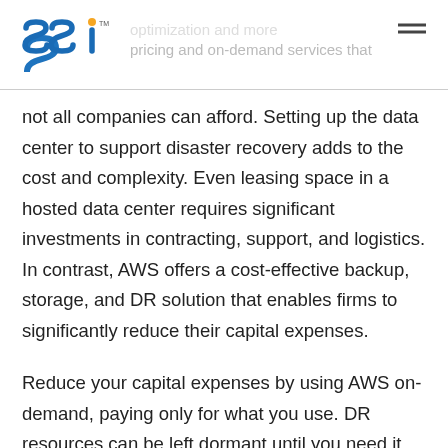SSI
not all companies can afford. Setting up the data center to support disaster recovery adds to the cost and complexity. Even leasing space in a hosted data center requires significant investments in contracting, support, and logistics. In contrast, AWS offers a cost-effective backup, storage, and DR solution that enables firms to significantly reduce their capital expenses.
Reduce your capital expenses by using AWS on-demand, paying only for what you use. DR resources can be left dormant until you need it